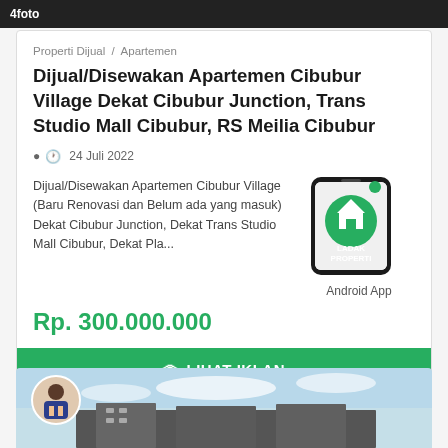4 foto
Properti Dijual / Apartemen
Dijual/Disewakan Apartemen Cibubur Village Dekat Cibubur Junction, Trans Studio Mall Cibubur, RS Meilia Cibubur
24 Juli 2022
Dijual/Disewakan Apartemen Cibubur Village (Baru Renovasi dan Belum ada yang masuk) Dekat Cibubur Junction, Dekat Trans Studio Mall Cibubur, Dekat Pla...
[Figure (screenshot): Mobile phone graphic showing Ladak Properti Android App with green logo]
Rp. 300.000.000
LIHAT IKLAN
[Figure (photo): Building exterior photo with person avatar in foreground]